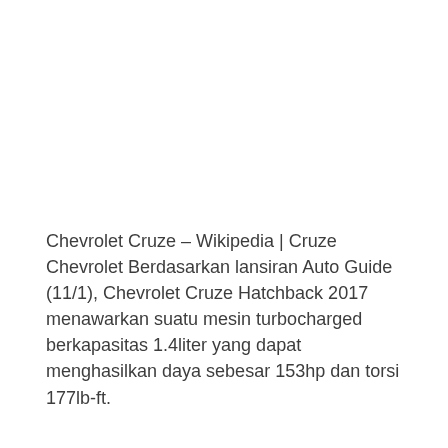Chevrolet Cruze – Wikipedia | Cruze Chevrolet Berdasarkan lansiran Auto Guide (11/1), Chevrolet Cruze Hatchback 2017 menawarkan suatu mesin turbocharged berkapasitas 1.4liter yang dapat menghasilkan daya sebesar 153hp dan torsi 177lb-ft.